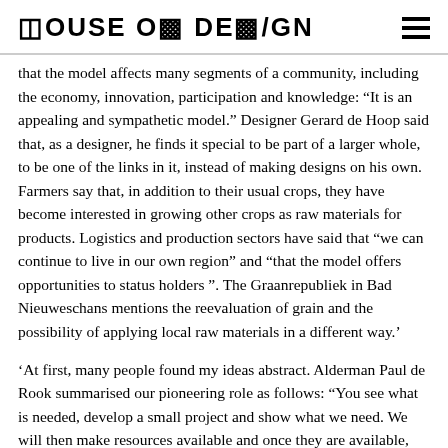HOUSE OF DES/GN
that the model affects many segments of a community, including the economy, innovation, participation and knowledge: “It is an appealing and sympathetic model.” Designer Gerard de Hoop said that, as a designer, he finds it special to be part of a larger whole, to be one of the links in it, instead of making designs on his own. Farmers say that, in addition to their usual crops, they have become interested in growing other crops as raw materials for products. Logistics and production sectors have said that “we can continue to live in our own region” and “that the model offers opportunities to status holders ”. The Graanrepubliek in Bad Nieuweschans mentions the reevaluation of grain and the possibility of applying local raw materials in a different way.
‘At first, many people found my ideas abstract. Alderman Paul de Rook summarised our pioneering role as follows: “You see what is needed, develop a small project and show what we need. We will then make resources available and once they are available, you will have moved on”. Now that the concepts and projects have been shaped in the form of